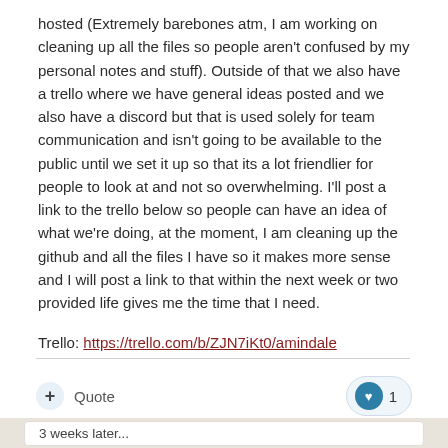hosted (Extremely barebones atm, I am working on cleaning up all the files so people aren't confused by my personal notes and stuff). Outside of that we also have a trello where we have general ideas posted and we also have a discord but that is used solely for team communication and isn't going to be available to the public until we set it up so that its a lot friendlier for people to look at and not so overwhelming. I'll post a link to the trello below so people can have an idea of what we're doing, at the moment, I am cleaning up the github and all the files I have so it makes more sense and I will post a link to that within the next week or two provided life gives me the time that I need.
Trello: https://trello.com/b/ZJN7iKt0/amindale
3 weeks later...